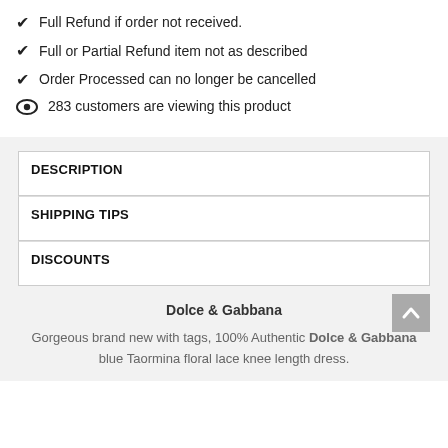Full Refund if order not received.
Full or Partial Refund item not as described
Order Processed can no longer be cancelled
283 customers are viewing this product
DESCRIPTION
SHIPPING TIPS
DISCOUNTS
Dolce & Gabbana
Gorgeous brand new with tags, 100% Authentic Dolce & Gabbana blue Taormina floral lace knee length dress.